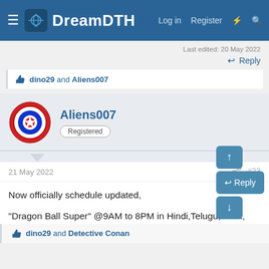DreamDTH — Log in  Register
Last edited: 20 May 2022
Reply
dino29 and Aliens007
Aliens007
Registered
21 May 2022   #23
Now officially schedule updated,

"Dragon Ball Super" @9AM to 8PM in Hindi,Telugu,Tamil, only on Cartoon Network,
dino29 and Detective Conan